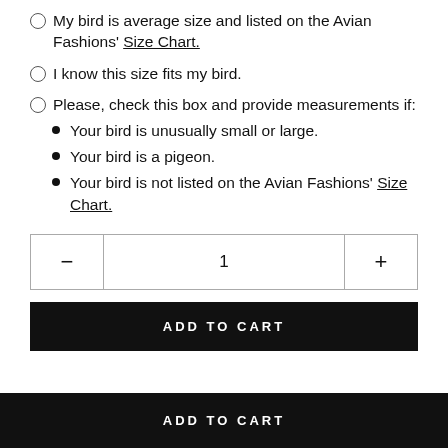My bird is average size and listed on the Avian Fashions' Size Chart.
I know this size fits my bird.
Please, check this box and provide measurements if:
Your bird is unusually small or large.
Your bird is a pigeon.
Your bird is not listed on the Avian Fashions' Size Chart.
1
ADD TO CART
ADD TO CART